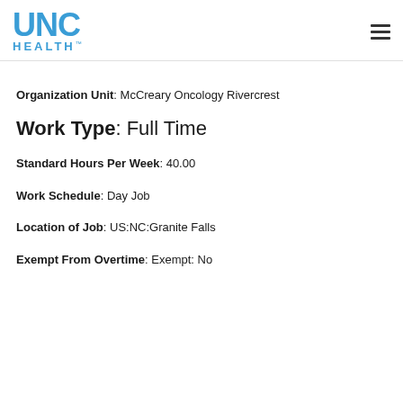[Figure (logo): UNC Health logo - blue text with UNC large and HEALTH below in tracking letters]
Organization Unit: McCreary Oncology Rivercrest
Work Type: Full Time
Standard Hours Per Week: 40.00
Work Schedule: Day Job
Location of Job: US:NC:Granite Falls
Exempt From Overtime: Exempt: No